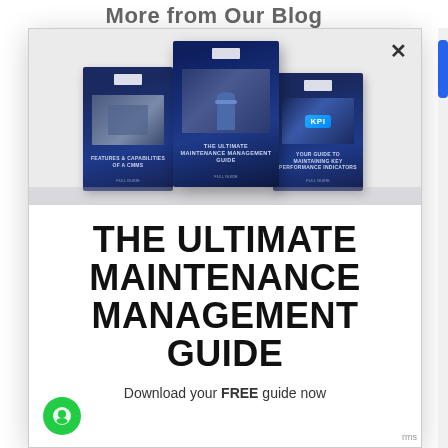More from Our Blog
[Figure (illustration): Three blue book/guide covers displayed at different heights — left cover: 'Features & Capabilities of a CMMS', center (tallest): 'The Ultimate Maintenance Management Guide' with a person in hard hat, right: 'Your Guide to Maintaining Key Performance Indicators']
THE ULTIMATE MAINTENANCE MANAGEMENT GUIDE
Download your FREE guide now